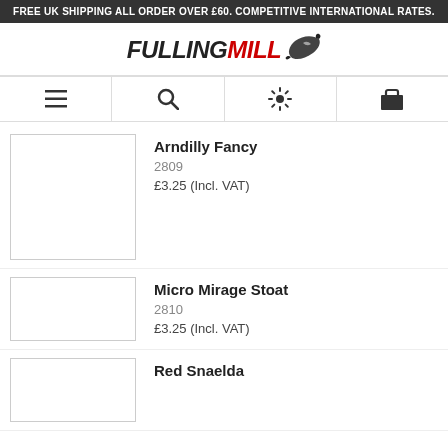FREE UK SHIPPING ALL ORDER OVER £60. COMPETITIVE INTERNATIONAL RATES.
[Figure (logo): Fulling Mill logo with stylized fish/swirl icon. FULLING in black italic bold, MILL in red italic bold.]
[Figure (infographic): Navigation bar with four icons: hamburger menu, search magnifying glass, gear/settings, briefcase/cart]
Arndilly Fancy
2809
£3.25 (Incl. VAT)
Micro Mirage Stoat
2810
£3.25 (Incl. VAT)
Red Snaelda